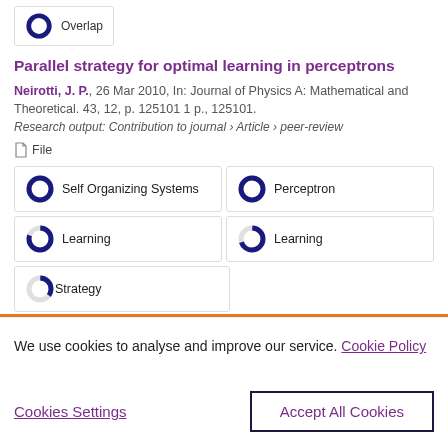[Figure (donut-chart): Donut chart for Overlap keyword badge]
Parallel strategy for optimal learning in perceptrons
Neirotti, J. P., 26 Mar 2010, In: Journal of Physics A: Mathematical and Theoretical. 43, 12, p. 125101 1 p., 125101.
Research output: Contribution to journal › Article › peer-review
File
[Figure (donut-chart): 100% donut for Self Organizing Systems]
[Figure (donut-chart): 100% donut for Perceptron]
[Figure (donut-chart): 80% donut for Learning (left)]
[Figure (donut-chart): 70% donut for Learning (right)]
[Figure (donut-chart): 35% donut for Strategy]
We use cookies to analyse and improve our service. Cookie Policy
Cookies Settings
Accept All Cookies